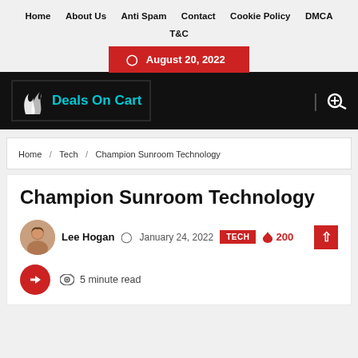Home  About Us  Anti Spam  Contact  Cookie Policy  DMCA  T&C
August 20, 2022
[Figure (logo): Deals On Cart logo with white wings icon and teal text on black background]
Home / Tech / Champion Sunroom Technology
Champion Sunroom Technology
Lee Hogan  January 24, 2022  TECH  200  5 minute read